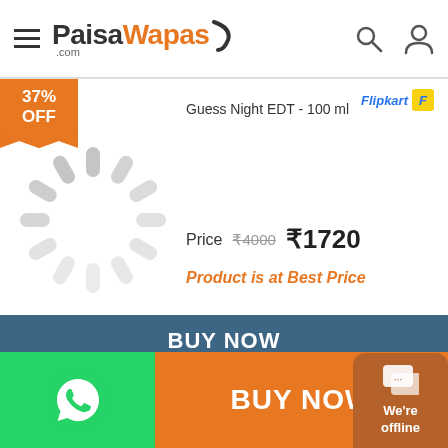PaisaWapas.com
37% OFF
[Figure (other): Loading spinner / image placeholder]
Flipkart
Guess Night EDT - 100 ml
Price  ₹4000  ₹1720
Product is at Best Price
BUY NOW
39% OFF
[Figure (other): Loading spinner / image placeholder]
Flipkart
Guess EDT - 75 ml
Price  ₹2790  ₹1695
BUY NOW
We're offline